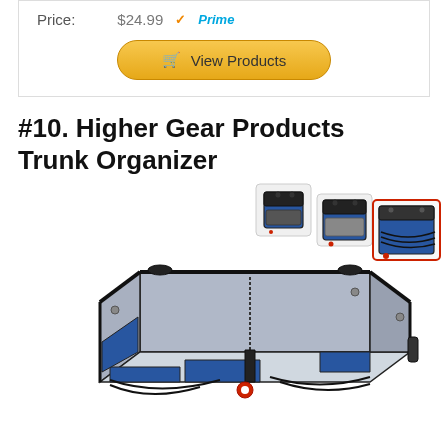| Price: | $24.99 Prime |
| --- | --- |
[Figure (other): Yellow 'View Products' button with shopping cart icon]
#10. Higher Gear Products Trunk Organizer
[Figure (photo): Product photo of Higher Gear Products Trunk Organizer — a blue and grey collapsible car trunk organizer with multiple compartments, shown open and expanded. Three smaller thumbnail images in upper right show the organizer collapsed/folded.]